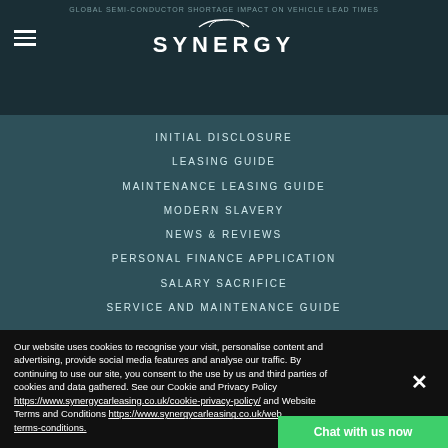GLOBAL SEMI-CONDUCTOR SHORTAGE IMPACT ON VEHICLE LEAD TIMES
[Figure (logo): Synergy car leasing logo with car silhouette above and SYNERGY text below]
INITIAL DISCLOSURE
LEASING GUIDE
MAINTENANCE LEASING GUIDE
MODERN SLAVERY
NEWS & REVIEWS
PERSONAL FINANCE APPLICATION
SALARY SACRIFICE
SERVICE AND MAINTENANCE GUIDE
Our website uses cookies to recognise your visit, personalise content and advertising, provide social media features and analyse our traffic. By continuing to use our site, you consent to the use by us and third parties of cookies and data gathered. See our Cookie and Privacy Policy https://www.synergycarleasing.co.uk/cookie-privacy-policy/ and Website Terms and Conditions https://www.synergycarleasing.co.uk/website-terms-conditions.
Chat with us now